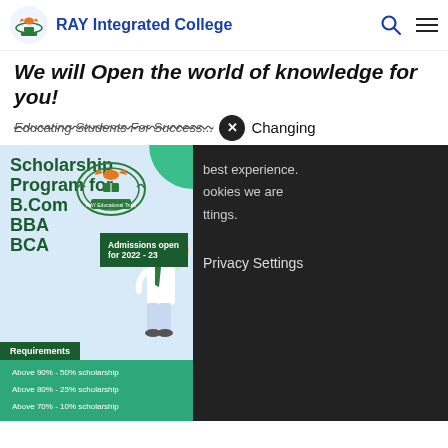RAY Integrated College
We will Open the world of knowledge for you!
Educating Students For Success ... Changing
[Figure (infographic): Scholarship program poster for B.Com, BBA, BCA with requirements: Above 90% - 50% scholarship, Above 80% - 25% scholarship, Above 70% - 10% scholarship. Admissions open for 2022-23. Features RAY Educational Trust logo and student illustration.]
best experience. ookies we are ttings.
Privacy Settings